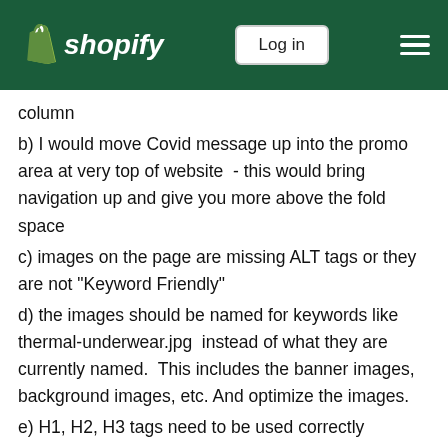shopify  Log in
column
b) I would move Covid message up into the promo area at very top of website  - this would bring navigation up and give you more above the fold space
c) images on the page are missing ALT tags or they are not "Keyword Friendly"
d) the images should be named for keywords like  thermal-underwear.jpg  instead of what they are currently named.  This includes the banner images, background images, etc. And optimize the images.
e) H1, H2, H3 tags need to be used correctly
f) should link internally and externally
Just a quick review -